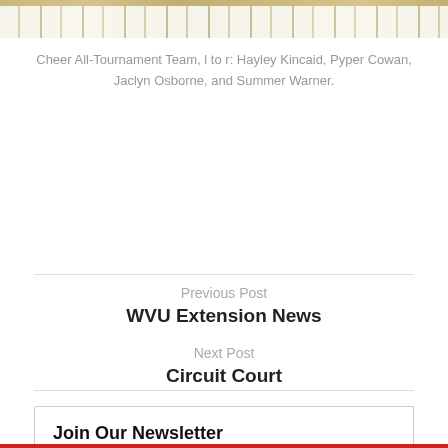[Figure (photo): Cropped photo of cheerleaders' shoes/feet on a basketball court floor, showing white sneakers and the hardwood surface.]
Cheer All-Tournament Team, l to r: Hayley Kincaid, Pyper Cowan, Jaclyn Osborne, and Summer Warner.
Previous Post
WVU Extension News
Next Post
Circuit Court
Join Our Newsletter